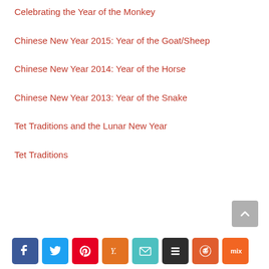Celebrating the Year of the Monkey
Chinese New Year 2015: Year of the Goat/Sheep
Chinese New Year 2014: Year of the Horse
Chinese New Year 2013: Year of the Snake
Tet Traditions and the Lunar New Year
Tet Traditions
Social share buttons: Facebook, Twitter, Pinterest, Yummly, Email, Buffer, Reddit, Mix